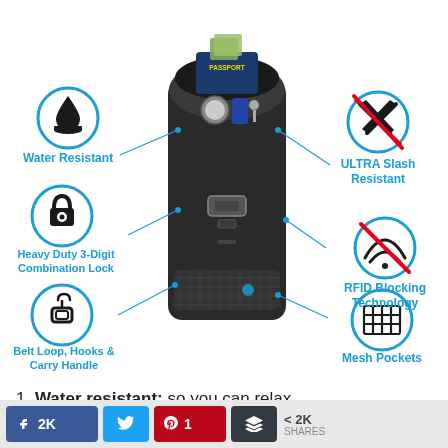[Figure (infographic): Product infographic for a travel security bag/pouch. Center shows a photo of a black tactical pouch open with passport, cash, keys, and other items visible. Six feature callouts with cyan circle icons and lines pointing to the bag: Water Resistant, ULTRA Slash Resistant, Heavy Duty 3-Digit Combination Lock, RFID Blocking Technology, Belt Loop Hooks & Carry Handle, Mesh Pockets.]
1. Water resistant: so you can relax
f 2K  [Twitter bird]  a 1  [Buffer icon]  < 2K SHARES